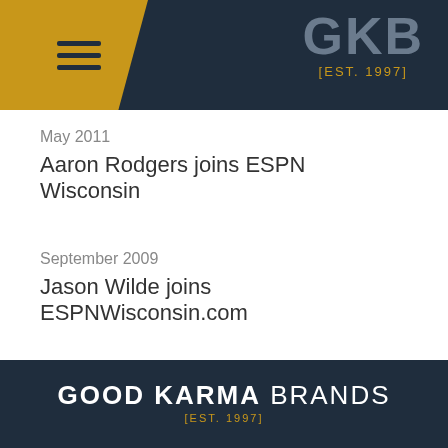GKB [EST. 1997]
May 2011
Aaron Rodgers joins ESPN Wisconsin
September 2009
Jason Wilde joins ESPNWisconsin.com
GOOD KARMA BRANDS [EST. 1997] 720 E. CAPITOL DRIVE MILWAUKEE, WI 53212 414-209-3100